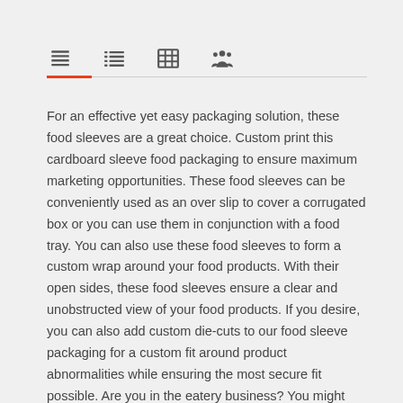[Figure (other): Navigation icon bar with four icons: paragraph/text icon, list icon, table/grid icon, and group/people icon. A red underline appears beneath the first icon, followed by a gray horizontal rule.]
For an effective yet easy packaging solution, these food sleeves are a great choice. Custom print this cardboard sleeve food packaging to ensure maximum marketing opportunities. These food sleeves can be conveniently used as an over slip to cover a corrugated box or you can use them in conjunction with a food tray. You can also use these food sleeves to form a custom wrap around your food products. With their open sides, these food sleeves ensure a clear and unobstructed view of your food products. If you desire, you can also add custom die-cuts to our food sleeve packaging for a custom fit around product abnormalities while ensuring the most secure fit possible. Are you in the eatery business? You might require custom food packaging such as pack as well as promote your product. We, at SoOPAK, promises to deliver a simple yet effective packaging solution. One of our best selling products is Sleeve Food which provides eatery businesses with maximum marketing